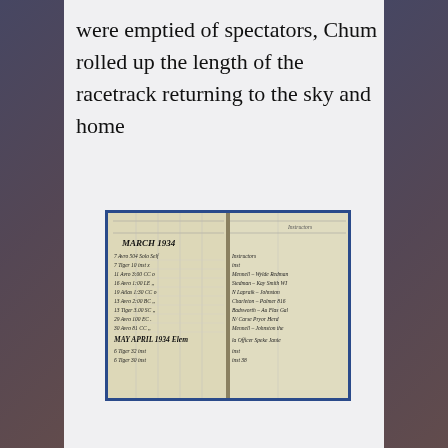were emptied of spectators, Chum rolled up the length of the racetrack returning to the sky and home
[Figure (photo): A handwritten logbook open to two pages showing entries dated MARCH 1934 and MAY APRIL 1934, with columns for dates, flight details, aircraft types, and instructor/remarks in cursive handwriting.]